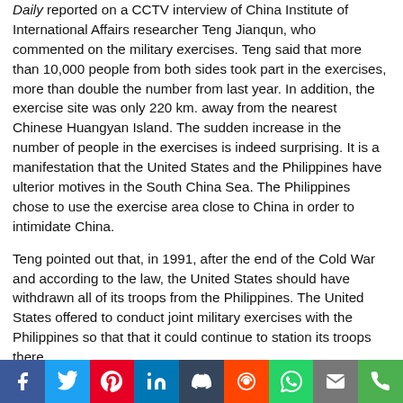Daily reported on a CCTV interview of China Institute of International Affairs researcher Teng Jianqun, who commented on the military exercises. Teng said that more than 10,000 people from both sides took part in the exercises, more than double the number from last year. In addition, the exercise site was only 220 km. away from the nearest Chinese Huangyan Island. The sudden increase in the number of people in the exercises is indeed surprising. It is a manifestation that the United States and the Philippines have ulterior motives in the South China Sea. The Philippines chose to use the exercise area close to China in order to intimidate China.
Teng pointed out that, in 1991, after the end of the Cold War and according to the law, the United States should have withdrawn all of its troops from the Philippines. The United States offered to conduct joint military exercises with the Philippines so that that it could continue to station its troops there.
Teng stated that the U.S. and the Philippines's military alliance has a long history. The United States has been providing military protection for the Philippines and has a large number of long-term troops stationed in the Philippines, especially since Aquino took office. He has tried to win over the United States to strengthen their military presence in the Philippines. to the current military deployment in the Philippines